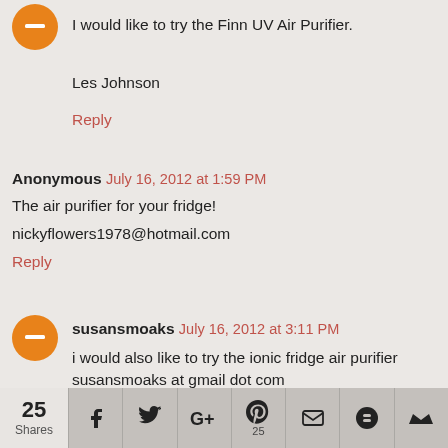[Figure (illustration): Orange circular Blogger avatar icon]
I would like to try the Finn UV Air Purifier.
Les Johnson
Reply
Anonymous July 16, 2012 at 1:59 PM
The air purifier for your fridge!
nickyflowers1978@hotmail.com
Reply
[Figure (illustration): Orange circular Blogger avatar icon]
susansmoaks July 16, 2012 at 3:11 PM
i would also like to try the ionic fridge air purifier susansmoaks at gmail dot com
Reply
[Figure (infographic): Social share bar with 25 shares count, and buttons for Facebook, Twitter, Google+, Pinterest (25), Email, Blogger, and a crown/misc icon]